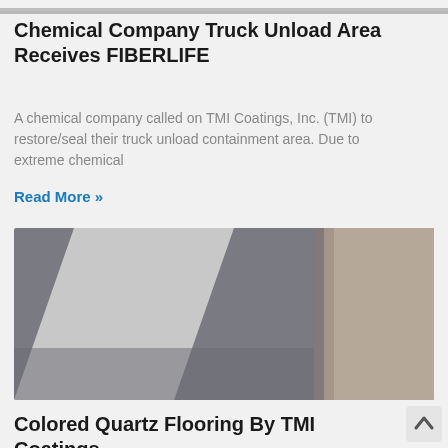[Figure (photo): Partial top edge of a photo, cropped at the very top of the page]
Chemical Company Truck Unload Area Receives FIBERLIFE
A chemical company called on TMI Coatings, Inc. (TMI) to restore/seal their truck unload containment area. Due to extreme chemical
Read More »
[Figure (photo): Photo of a floor surface with a diagonal light stripe across a gray/beige surface, appears to be a coated floor]
Colored Quartz Flooring By TMI Coatings